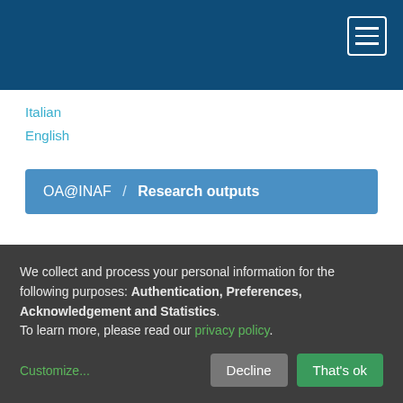OA@INAF header bar with hamburger menu
Italian
English
OA@INAF / Research outputs
Browsing by Author > van Soelen, B.
We collect and process your personal information for the following purposes: Authentication, Preferences, Acknowledgement and Statistics.
To learn more, please read our privacy policy.